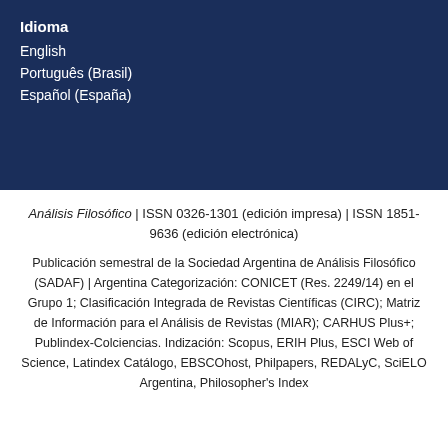Idioma
English
Português (Brasil)
Español (España)
Análisis Filosófico | ISSN 0326-1301 (edición impresa) | ISSN 1851-9636 (edición electrónica)
Publicación semestral de la Sociedad Argentina de Análisis Filosófico (SADAF) | Argentina Categorización: CONICET (Res. 2249/14) en el Grupo 1; Clasificación Integrada de Revistas Científicas (CIRC); Matriz de Información para el Análisis de Revistas (MIAR); CARHUS Plus+; Publindex-Colciencias. Indización: Scopus, ERIH Plus, ESCI Web of Science, Latindex Catálogo, EBSCOhost, Philpapers, REDALyC, SciELO Argentina, Philosopher's Index